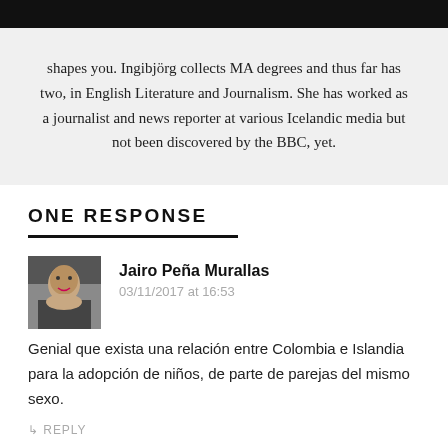shapes you. Ingibjörg collects MA degrees and thus far has two, in English Literature and Journalism. She has worked as a journalist and news reporter at various Icelandic media but not been discovered by the BBC, yet.
ONE RESPONSE
Jairo Peña Murallas
03/11/2017 at 16:53
Genial que exista una relación entre Colombia e Islandia para la adopción de niños, de parte de parejas del mismo sexo.
↳ REPLY